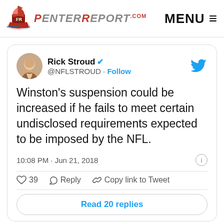PenterReport.com | MENU
[Figure (screenshot): Embedded tweet from @NFLSTROUD (Rick Stroud, verified) reading: Winston's suspension could be increased if he fails to meet certain undisclosed requirements expected to be imposed by the NFL. 10:08 PM · Jun 21, 2018. 39 likes. Reply. Copy link to Tweet. Read 20 replies.]
33